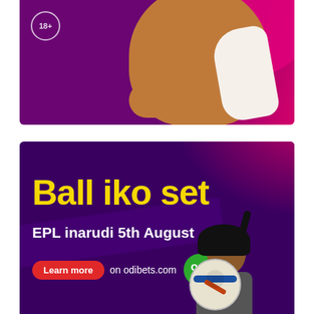[Figure (photo): Top advertisement banner with purple and pink gradient background, 18+ age badge on left, person's midsection visible wearing white outfit]
[Figure (photo): OdiBets advertisement on dark purple background. Large yellow bold text reads 'Ball iko set', white bold text 'EPL inarudi 5th August', red pill-shaped 'Learn more' button, text 'on odibets.com', green OdiBets logo. Woman with ponytail holding football visible at bottom.]